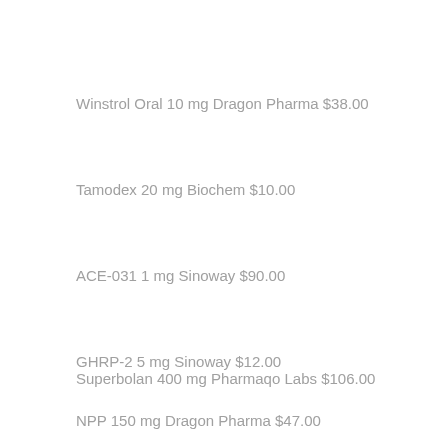Winstrol Oral 10 mg Dragon Pharma $38.00
Tamodex 20 mg Biochem $10.00
ACE-031 1 mg Sinoway $90.00
GHRP-2 5 mg Sinoway $12.00
Superbolan 400 mg Pharmaqo Labs $106.00
NPP 150 mg Dragon Pharma $47.00